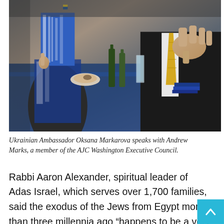[Figure (photo): Photo of Ukrainian Ambassador Oksana Markarova speaking with Andrew Marks at a dining table, both gesturing with hands, food and drinks visible on table with blue tablecloth.]
Ukrainian Ambassador Oksana Markarova speaks with Andrew Marks, a member of the AJC Washington Executive Council.
Rabbi Aaron Alexander, spiritual leader of Adas Israel, which serves over 1,700 families, said the exodus of the Jews from Egypt more than three millennia ago “happens to be a very universal story.”
“Over and over again, the story from degradation to emancipation plays itself out. Until today, human beings are degraded and rejected and diminished at the whims of those seeking to achieve or retain power for their own nefarious purposes,” he said. “It’s happening today across the world…”